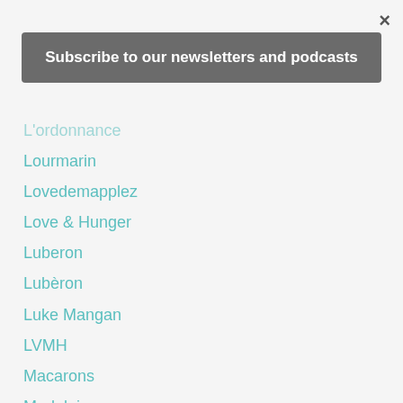×
Subscribe to our newsletters and podcasts
L'ordonnance
Lourmarin
Lovedemapplez
Love & Hunger
Luberon
Lubèron
Luke Mangan
LVMH
Macarons
Madeleines
Magazine
Maggie Beer
Magret
Maille
Maison Kammerzell
Maitre Karl
Malbec